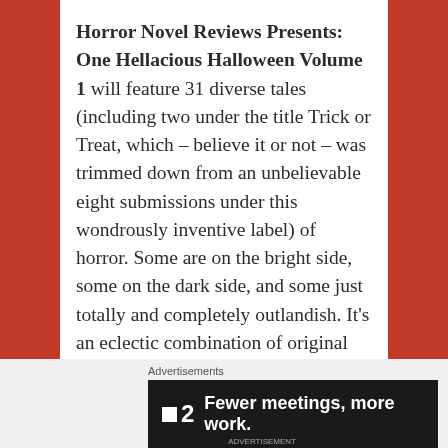Horror Novel Reviews Presents: One Hellacious Halloween Volume 1 will feature 31 diverse tales (including two under the title Trick or Treat, which – believe it or not – was trimmed down from an unbelievable eight submissions under this wondrously inventive label) of horror. Some are on the bright side, some on the dark side, and some just totally and completely outlandish. It's an eclectic combination of original horror fiction coming your way in a matter of days!
Advertisements
[Figure (other): Dark advertisement banner showing Fewer meetings, more work. with a logo consisting of a small square and the number 2.]